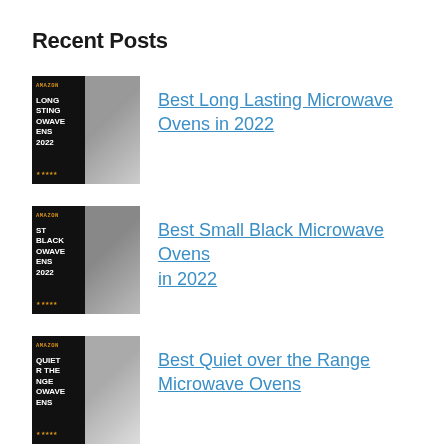Recent Posts
Best Long Lasting Microwave Ovens in 2022
Best Small Black Microwave Ovens in 2022
Best Quiet over the Range Microwave Ovens